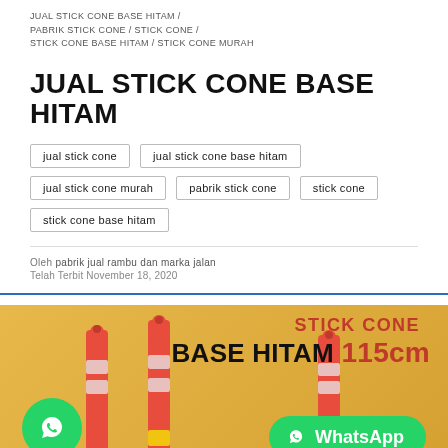JUAL STICK CONE BASE HITAM / PABRIK STICK CONE / STICK CONE / STICK CONE BASE HITAM / STICK CONE MURAH
JUAL STICK CONE BASE HITAM
jual stick cone
jual stick cone base hitam
jual stick cone murah
pabrik stick cone
stick cone
stick cone base hitam
Oleh  pabrik jual rambu dan marka jalan
Telah Terbit November 18, 2020
[Figure (photo): Photo of orange stick cone base hitam products (traffic delineator posts, 115cm) with WhatsApp contact button and green WhatsApp circle icon on a golden/yellow background. Text overlay reads 'STICK CONE BASE HITAM 115cm' and 'WhatsApp'.]